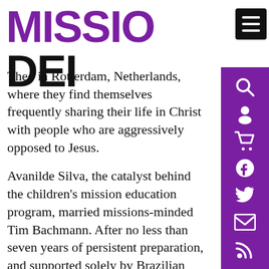MISSIO DEI
Theo in Rotterdam, Netherlands, where they find themselves frequently sharing their life in Christ with people who are aggressively opposed to Jesus.
Avanilde Silva, the catalyst behind the children's mission education program, married missions-minded Tim Bachmann. After no less than seven years of persistent preparation, and supported solely by Brazilian churches, the Bachmanns moved to Guinea-Bissau in January 2002 to do pioneer work among the Felupe people.
Avanilde's sister, Maria Arenilde (Silva)